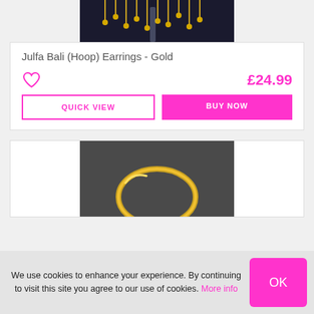[Figure (photo): Gold bead fringe earrings on dark background, top portion visible]
Julfa Bali (Hoop) Earrings - Gold
£24.99
QUICK VIEW
BUY NOW
[Figure (photo): Gold hoop/bangle ring on dark grey background, partially visible]
We use cookies to enhance your experience. By continuing to visit this site you agree to our use of cookies. More info
OK